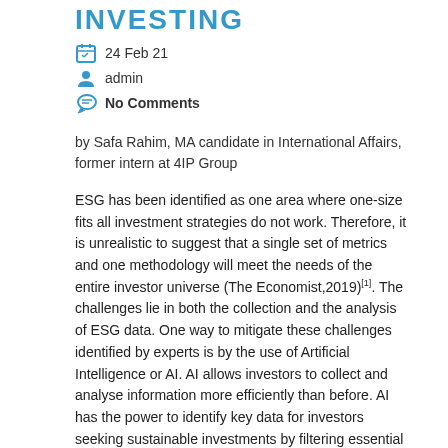INVESTING
24 Feb 21
admin
No Comments
by Safa Rahim, MA candidate in International Affairs, former intern at 4IP Group
ESG has been identified as one area where one-size fits all investment strategies do not work. Therefore, it is unrealistic to suggest that a single set of metrics and one methodology will meet the needs of the entire investor universe (The Economist,2019)[1]. The challenges lie in both the collection and the analysis of ESG data. One way to mitigate these challenges identified by experts is by the use of Artificial Intelligence or AI. AI allows investors to collect and analyse information more efficiently than before. AI has the power to identify key data for investors seeking sustainable investments by filtering essential data that investors lack.[2]
The technologies enable the processing of data in